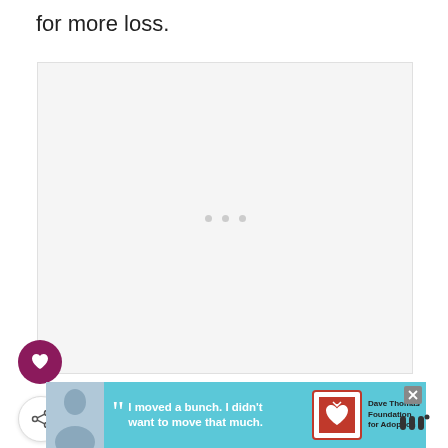for more loss.
[Figure (other): Large blank/loading image placeholder with three small grey dots in the center]
[Figure (other): Heart (like/favorite) button — dark magenta circle with white heart icon]
[Figure (other): Share button — white circle with share/plus icon]
[Figure (other): Advertisement banner: light blue background, photo of young man, quote 'I moved a bunch. I didn't want to move that much.', Dave Thomas Foundation for Adoption logo]